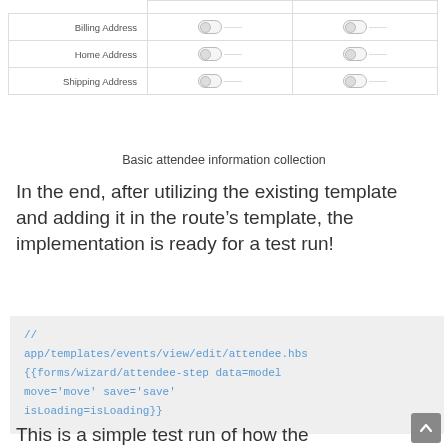[Figure (screenshot): UI table showing Billing Address, Home Address, and Shipping Address rows with toggle controls in two columns]
Basic attendee information collection
In the end, after utilizing the existing template and adding it in the route’s template, the implementation is ready for a test run!
[Figure (screenshot): Code block showing: // app/templates/events/view/edit/attendee.hbs {{forms/wizard/attendee-step data=model move='move' save='save' isLoading=isLoading}}]
This is a simple test run of how the